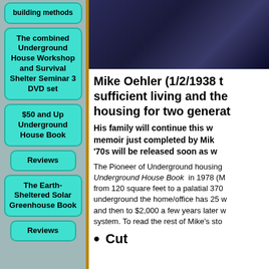building methods
The combined Underground House Workshop and Survival Shelter Seminar 3 DVD set
$50 and Up Underground House Book
Reviews
The Earth-Sheltered Solar Greenhouse Book
Reviews
[Figure (photo): Dark blue/navy background photo, likely a person wearing dark clothing]
Mike Oehler (1/2/1938 t sufficient living and the housing for two generat
His family will continue this w memoir just completed by Mik '70s will be released soon as w
The Pioneer of Underground housing Underground House Book in 1978 (M from 120 square feet to a palatial 370 underground the home/office has 25 w and then to $2,000 a few years later w system. To read the rest of Mike's sto
Cut